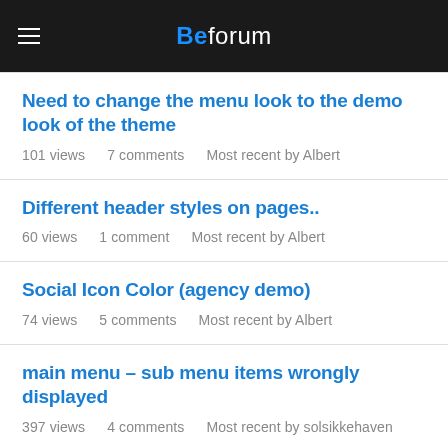Beforum
Need to change the menu look to the demo look of the theme
101 views   7 comments   Most recent by Albert
Different header styles on pages..
60 views   1 comment   Most recent by Albert
Social Icon Color (agency demo)
74 views   5 comments   Most recent by Albert
main menu – sub menu items wrongly displayed
397 views   4 comments   Most recent by solsikkehaven
Mega Menu Columns & Font Type